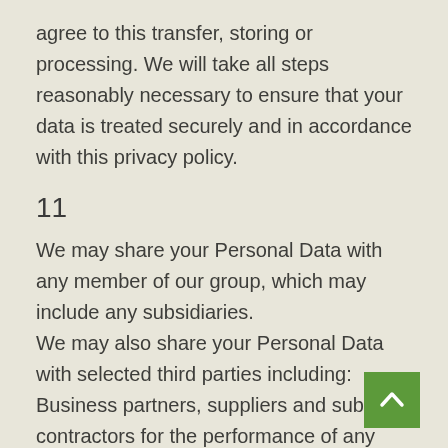agree to this transfer, storing or processing. We will take all steps reasonably necessary to ensure that your data is treated securely and in accordance with this privacy policy.
11
We may share your Personal Data with any member of our group, which may include any subsidiaries.
We may also share your Personal Data with selected third parties including:
Business partners, suppliers and sub-contractors for the performance of any contract we enter into with them or you.
Advertisers and advertising networks that require the data to select and serve relevant